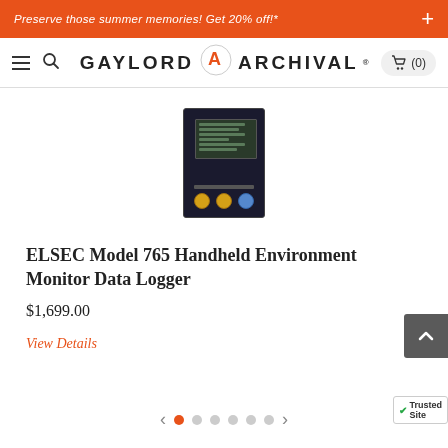Preserve those summer memories! Get 20% off!*
[Figure (logo): Gaylord Archival logo with navigation bar including hamburger menu, search icon, and cart]
[Figure (photo): ELSEC Model 765 Handheld Environment Monitor Data Logger device shown as small black electronic device with screen and yellow buttons]
ELSEC Model 765 Handheld Environment Monitor Data Logger
$1,699.00
View Details